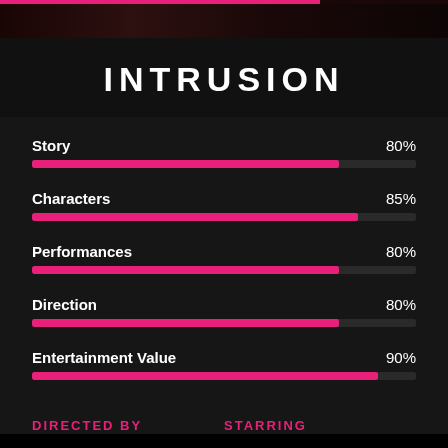[Figure (photo): Dark photo strip at top of page showing a movie still from Intrusion]
INTRUSION
[Figure (bar-chart): INTRUSION ratings]
DIRECTED BY    STARRING